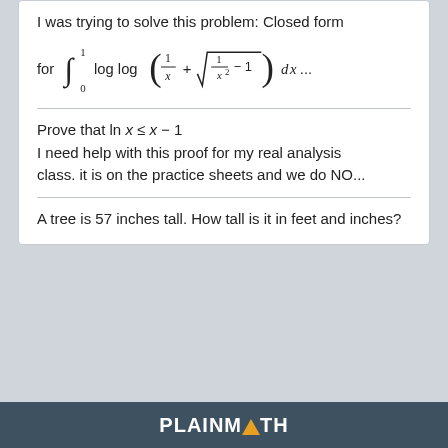I was trying to solve this problem: Closed form
Prove that ln x ≤ x − 1
I need help with this proof for my real analysis class. it is on the practice sheets and we do NO...
A tree is 57 inches tall. How tall is it in feet and inches?
PLAINMATH